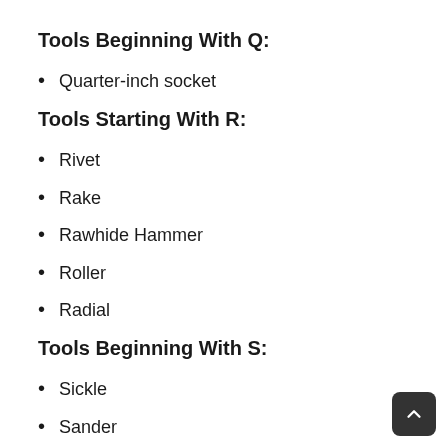Tools Beginning With Q:
Quarter-inch socket
Tools Starting With R:
Rivet
Rake
Rawhide Hammer
Roller
Radial
Tools Beginning With S:
Sickle
Sander
Screw Tap